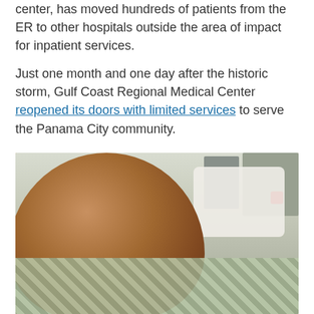center, has moved hundreds of patients from the ER to other hospitals outside the area of impact for inpatient services.
Just one month and one day after the historic storm, Gulf Coast Regional Medical Center reopened its doors with limited services to serve the Panama City community.
[Figure (photo): A woman lying in a hospital bed, smiling at the camera. She is wearing a green checked hospital gown and resting on a white pillow. Hospital room equipment and panels are visible in the background.]